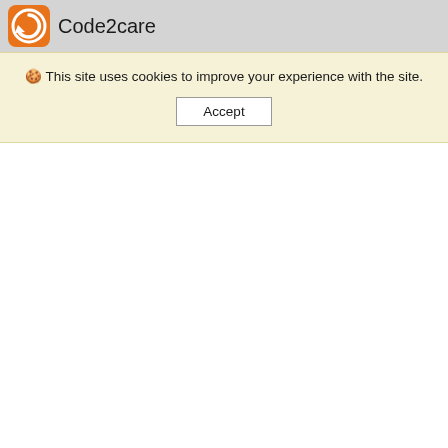[Figure (logo): Code2care logo — orange rounded square with a white circular arrow/refresh icon]
Code2care
🍪 This site uses cookies to improve your experience with the site.
Accept